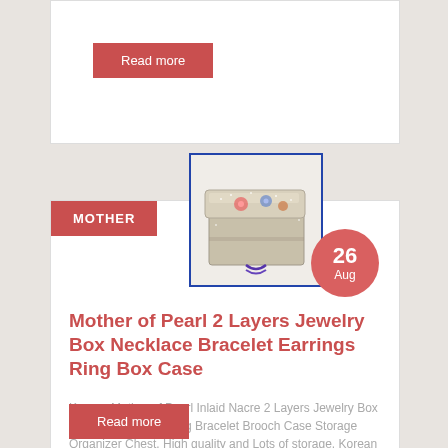Read more
[Figure (photo): Mother of Pearl jewelry box with floral decoration]
MOTHER
26 Aug
Mother of Pearl 2 Layers Jewelry Box Necklace Bracelet Earrings Ring Box Case
Korean Mother of Pearl Inlaid Nacre 2 Layers Jewelry Box Ring Necklace Earring Bracelet Brooch Case Storage Organizer Chest. High quality and Lots of storage. Korean traditional natural [...]
Read more